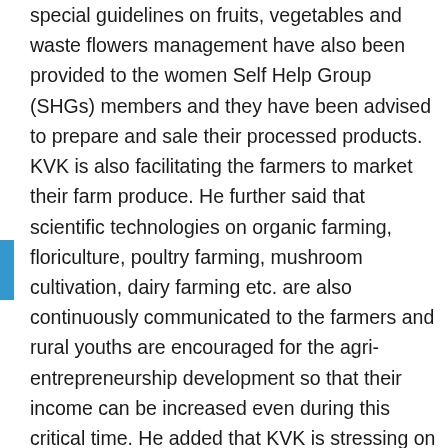special guidelines on fruits, vegetables and waste flowers management have also been provided to the women Self Help Group (SHGs) members and they have been advised to prepare and sale their processed products. KVK is also facilitating the farmers to market their farm produce. He further said that scientific technologies on organic farming, floriculture, poultry farming, mushroom cultivation, dairy farming etc. are also continuously communicated to the farmers and rural youths are encouraged for the agri-entrepreneurship development so that their income can be increased even during this critical time. He added that KVK is stressing on eco-friendly agriculture so that safe and healthy food can be produced with the least cost of cultivation. He informed that the cultivation of ginger, turmeric and lemon grass is also suggested by the KVK in the monkeys affected areas. He also said that KVK scientists are also advising the farmers for the social distancing, masks wearing, hand hygiene and